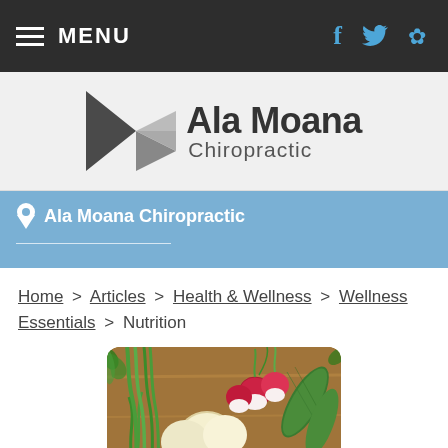MENU
[Figure (logo): Ala Moana Chiropractic logo with geometric triangles and text]
Ala Moana Chiropractic
Home > Articles > Health & Wellness > Wellness Essentials > Nutrition
[Figure (photo): Photo of fresh vegetables including carrots, onions, radishes, green onions, and cucumbers]